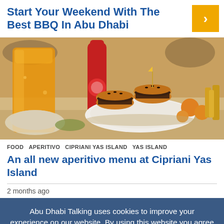Start Your Weekend With The Best BBQ In Abu Dhabi
[Figure (photo): Photo of mini burgers/sliders on a plate with an orange juice drink and fries on a restaurant table]
FOOD   APERITIVO   CIPRIANI YAS ISLAND   YAS ISLAND
An all new aperitivo menu at Cipriani Yas Island
2 months ago
Abu Dhabi Talking uses cookies to improve your experience on our website. By using this website you agree to our Privacy Policy. Accept